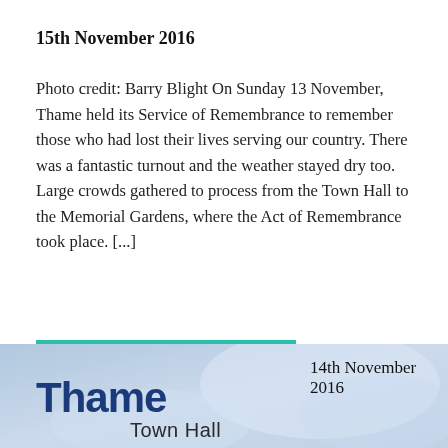15th November 2016
Photo credit: Barry Blight On Sunday 13 November, Thame held its Service of Remembrance to remember those who had lost their lives serving our country. There was a fantastic turnout and the weather stayed dry too. Large crowds gathered to process from the Town Hall to the Memorial Gardens, where the Act of Remembrance took place. [...]
Continue reading ▷
[Figure (other): Bottom banner showing Thame Town Hall heading with date 14th November 2016 and a faint wintry background image]